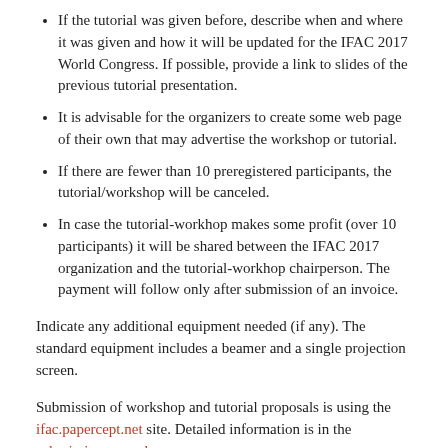If the tutorial was given before, describe when and where it was given and how it will be updated for the IFAC 2017 World Congress. If possible, provide a link to slides of the previous tutorial presentation.
It is advisable for the organizers to create some web page of their own that may advertise the workshop or tutorial.
If there are fewer than 10 preregistered participants, the tutorial/workshop will be canceled.
In case the tutorial-workhop makes some profit (over 10 participants) it will be shared between the IFAC 2017 organization and the tutorial-workhop chairperson. The payment will follow only after submission of an invoice.
Indicate any additional equipment needed (if any). The standard equipment includes a beamer and a single projection screen.
Submission of workshop and tutorial proposals is using the ifac.papercept.net site. Detailed information is in the submission procedure page.
For further information, please contact us via the following email